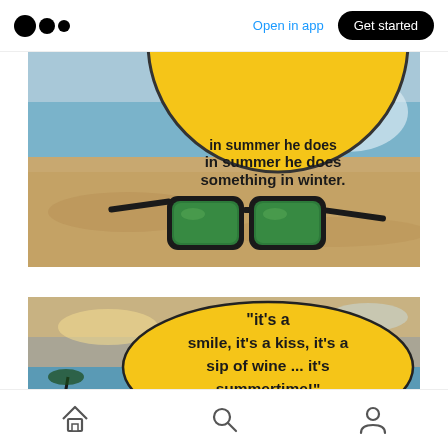Open in app | Get started
[Figure (photo): Beach scene with sunglasses resting on sand, partially visible yellow circle overlay with text 'in summer he does something in winter.']
[Figure (photo): Sunset beach scene with yellow oval overlay containing quote: 'it's a smile, it's a kiss, it's a sip of wine ... it's summertime!']
Home, Search, Profile navigation icons